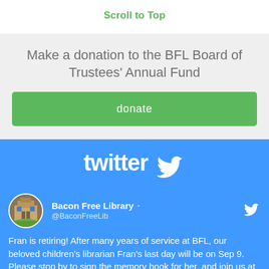Scroll to Top
Make a donation to the BFL Board of Trustees' Annual Fund
donate
[Figure (logo): Twitter logo with bird icon, white text on blue background]
Bacon Free Library · @BaconFreeLib
Fran is retiring! After many years of service at BFL, our beloved children's librarian Fran's last day will be on Sep 9. Please stop by to sign the memory book for her, and join us at the library on